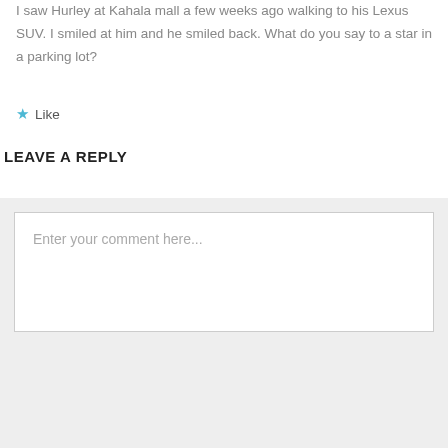I saw Hurley at Kahala mall a few weeks ago walking to his Lexus SUV. I smiled at him and he smiled back. What do you say to a star in a parking lot?
Like
LEAVE A REPLY
Enter your comment here...